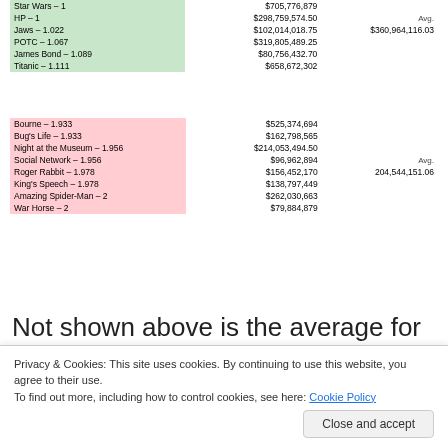| Film | Value | Avg |
| --- | --- | --- |
| Star Wars – 1 | $705,776,879 |  |
| HP – 1 | $298,759,574.50 | Avg. |
| Jaws – 1.022 | $102,014,018.75 | $360,964,116.03 |
| POTC – 1.067 | $319,805,489.25 |  |
| James Bond – 1.089 | $80,756,432.70 |  |
| Titanic – 1.111 | $658,672,302 |  |
| Film | Value | Avg |
| --- | --- | --- |
| Bourne – 1.933 | $525,374,694 |  |
| Bug's Life – 1.933 | $162,798,565 |  |
| Night at the Museum – 1.956 | $214,053,494.50 |  |
| Social Network – 1.956 | $96,962,894 | Avg. |
| Roger Rabbit – 1.978 | $156,452,170 | 204,544,151.06 |
| King's Speech – 1.978 | $138,797,449 |  |
| Amazing Spider-Man – 2 | $262,030,663 |  |
| War Horse – 2 | $79,884,879 |  |
Not shown above is the average for the middle films, which came out to be $241,059,348, showing the correlation. Five of the most recognizable films, or, at least, films from the series, are located on the list of the
Privacy & Cookies: This site uses cookies. By continuing to use this website, you agree to their use.
To find out more, including how to control cookies, see here: Cookie Policy